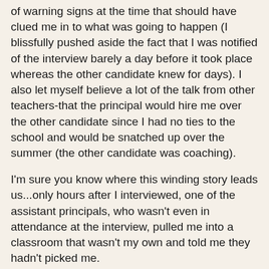of warning signs at the time that should have clued me in to what was going to happen (I blissfully pushed aside the fact that I was notified of the interview barely a day before it took place whereas the other candidate knew for days). I also let myself believe a lot of the talk from other teachers-that the principal would hire me over the other candidate since I had no ties to the school and would be snatched up over the summer (the other candidate was coaching).
I'm sure you know where this winding story leads us...only hours after I interviewed, one of the assistant principals, who wasn't even in attendance at the interview, pulled me into a classroom that wasn't my own and told me they hadn't picked me.
To say I was crushed is an understatement. I lost it after he left the room. It became very real to me in that moment, standing in another teacher's room, that I didn't have "it." In many ways, I felt like a failure. Worthless.
I left that school only a couple of weeks later. A few of the other teachers told me to leave my belongings in the storage room, as they believed the other position would open up...